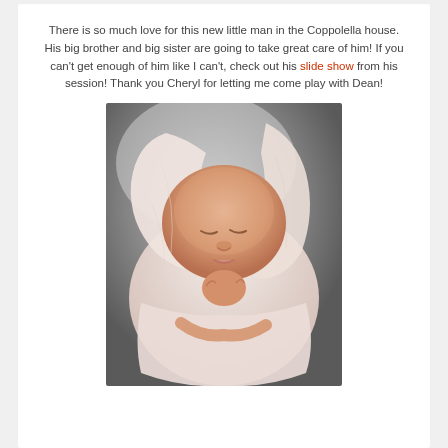There is so much love for this new little man in the Coppolella house. His big brother and big sister are going to take great care of him! If you can't get enough of him like I can't, check out his slide show from his session! Thank you Cheryl for letting me come play with Dean!
[Figure (photo): A newborn baby sleeping peacefully, swaddled in a soft white/pale pink knit wrap, with hands tucked under chin. The background is a soft grey gradient. Studio newborn photography.]